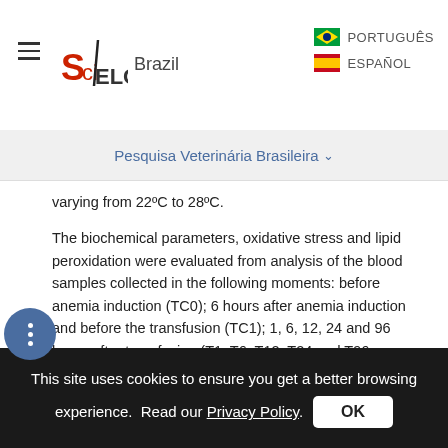SciELO Brazil | PORTUGUÊS | ESPAÑOL
Pesquisa Veterinária Brasileira
varying from 22°C to 28°C.

The biochemical parameters, oxidative stress and lipid peroxidation were evaluated from analysis of the blood samples collected in the following moments: before anemia induction (TC0); 6 hours after anemia induction and before the transfusion (TC1); 1, 6, 12, 24 and 96 hours after transfusion (T1, T6, T12, T24 and T96, respectively); 8, 16 and 32 days after the transfusion (T8d, T16d and T32d, respectively). The blood gas parameters were evaluated from TC0 to T96.
This site uses cookies to ensure you get a better browsing experience. Read our Privacy Policy.